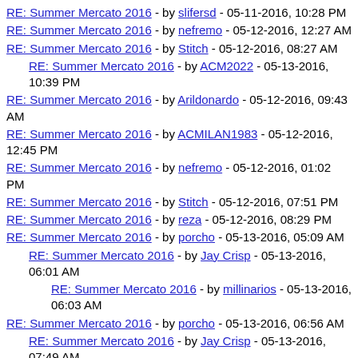RE: Summer Mercato 2016 - by slifersd - 05-11-2016, 10:28 PM
RE: Summer Mercato 2016 - by nefremo - 05-12-2016, 12:27 AM
RE: Summer Mercato 2016 - by Stitch - 05-12-2016, 08:27 AM
RE: Summer Mercato 2016 - by ACM2022 - 05-13-2016, 10:39 PM
RE: Summer Mercato 2016 - by Arildonardo - 05-12-2016, 09:43 AM
RE: Summer Mercato 2016 - by ACMILAN1983 - 05-12-2016, 12:45 PM
RE: Summer Mercato 2016 - by nefremo - 05-12-2016, 01:02 PM
RE: Summer Mercato 2016 - by Stitch - 05-12-2016, 07:51 PM
RE: Summer Mercato 2016 - by reza - 05-12-2016, 08:29 PM
RE: Summer Mercato 2016 - by porcho - 05-13-2016, 05:09 AM
RE: Summer Mercato 2016 - by Jay Crisp - 05-13-2016, 06:01 AM
RE: Summer Mercato 2016 - by millinarios - 05-13-2016, 06:03 AM
RE: Summer Mercato 2016 - by porcho - 05-13-2016, 06:56 AM
RE: Summer Mercato 2016 - by Jay Crisp - 05-13-2016, 07:49 AM